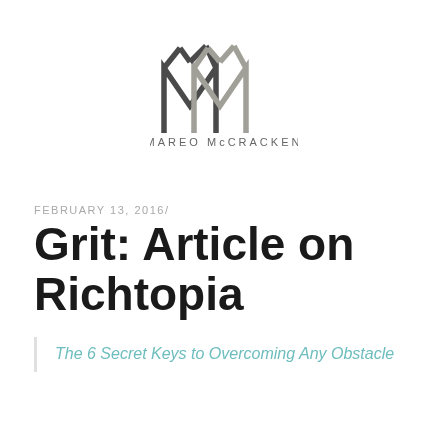[Figure (logo): Mareo McCracken logo — two interlocking M-shaped geometric marks, one dark grey and one light grey, forming a stylized double-M monogram. Below the logo the text MAREO McCRACKEN in spaced uppercase sans-serif.]
FEBRUARY 13, 2016/
Grit: Article on Richtopia
The 6 Secret Keys to Overcoming Any Obstacle